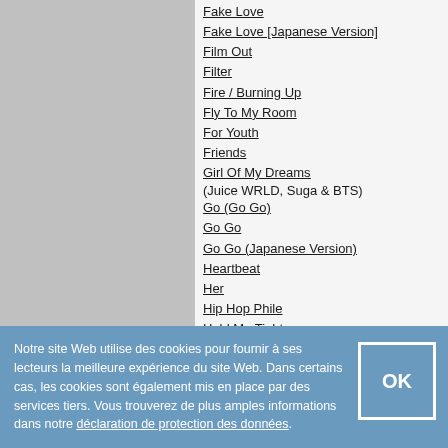Fake Love
Fake Love [Japanese Version]
Film Out
Filter
Fire / Burning Up
Fly To My Room
For Youth
Friends
Girl Of My Dreams (Juice WRLD, Suga & BTS)
Go (Go Go)
Go Go
Go Go (Japanese Version)
Heartbeat
Her
Hip Hop Phile
Hold Me Tight
Home
House Of Cards
https://hitparade.ch/song/BTS/Outro:-Love-Is-Not-1752900
I Like It
I Need U
Idol (BTS feat. Nicki Minaj)
Idol
Idol [Japanese Version]
If I Ruled The World
I'm Fine
Inner Child
Notre site Web utilise des cookies pour fournir à ses lecteurs la meilleure expérience du site Web. Dans certains cas, les cookies sont également mis en place par des services tiers. Vous trouverez de plus amples informations dans notre déclaration de protection des données.